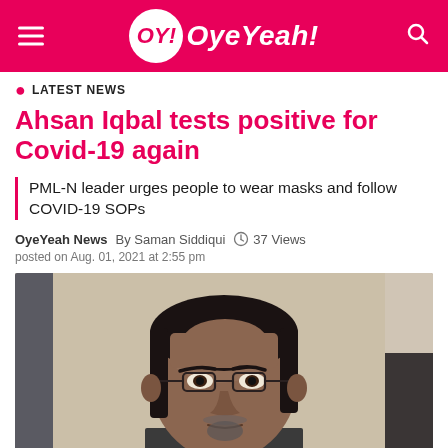OY! OyeYeah!
LATEST NEWS
Ahsan Iqbal tests positive for Covid-19 again
PML-N leader urges people to wear masks and follow COVID-19 SOPs
OyeYeah News  By Saman Siddiqui  37 Views
posted on Aug. 01, 2021 at 2:55 pm
[Figure (photo): Portrait photo of Ahsan Iqbal, a middle-aged man wearing glasses with dark hair and a goatee, against a light background]